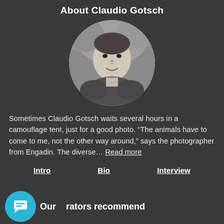About Claudio Gotsch
[Figure (photo): Black and white circular portrait photo of Claudio Gotsch, a man smiling outdoors, wearing a jacket, with rocky background]
Sometimes Claudio Gotsch waits several hours in a camouflage tent, just for a good photo. “The animals have to come to me, not the other way around,” says the photographer from Engadin. The diverse… Read more
Intro
Bio
Interview
Our curators recommend